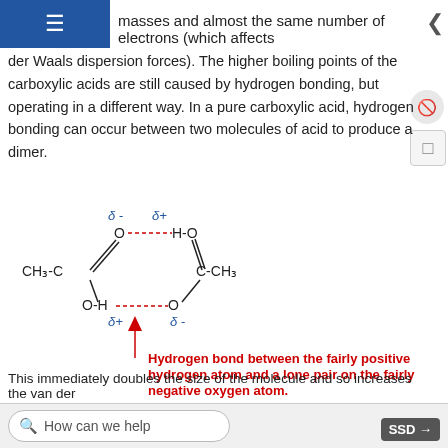masses and almost the same number of electrons (which affects
der Waals dispersion forces). The higher boiling points of the carboxylic acids are still caused by hydrogen bonding, but operating in a different way. In a pure carboxylic acid, hydrogen bonding can occur between two molecules of acid to produce a dimer.
[Figure (chemistry-diagram): Structural diagram of a carboxylic acid dimer (acetic acid) showing hydrogen bonding. Two CH3-C(=O)-OH molecules are shown forming a cyclic dimer via two hydrogen bonds (dotted lines) between O-H and O. Delta minus labels on oxygen atoms, delta plus labels on hydrogen atoms. A red arrow points to one H-bond with caption: Hydrogen bond between the fairly positive hydrogen atom and a lone pair on the fairly negative oxygen atom.]
This immediately doubles the size of the molecule and so increases the van der
How can we help